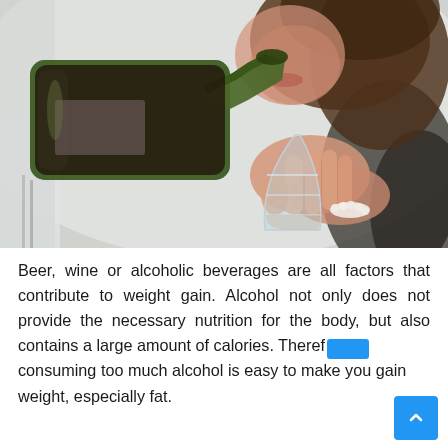[Figure (photo): A woman with brown hair pouring red wine from a green bottle into a glass goblet she is holding with both hands. The background is blurred and light. The woman is wearing a dark top and a pearl bracelet.]
Beer, wine or alcoholic beverages are all factors that contribute to weight gain. Alcohol not only does not provide the necessary nutrition for the body, but also contains a large amount of calories. Therefore consuming too much alcohol is easy to make you gain weight, especially fat.